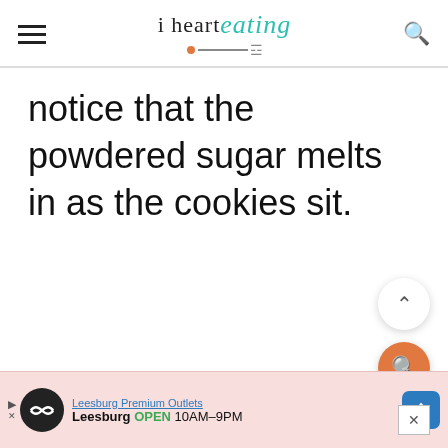i heart eating
notice that the powdered sugar melts in as the cookies sit.
[Figure (screenshot): Scroll-to-top button (chevron up, circular white button with shadow)]
[Figure (screenshot): Floating orange search button with magnifying glass icon]
[Figure (screenshot): Close button (X) in bottom right]
[Figure (screenshot): Ad banner: Leesburg Premium Outlets - Leesburg OPEN 10AM-9PM with navigation icon, pink background]